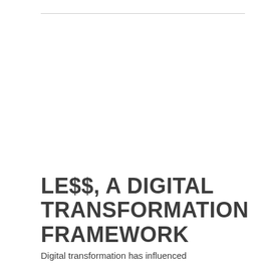LE$$, A DIGITAL TRANSFORMATION FRAMEWORK
Digital transformation has influenced